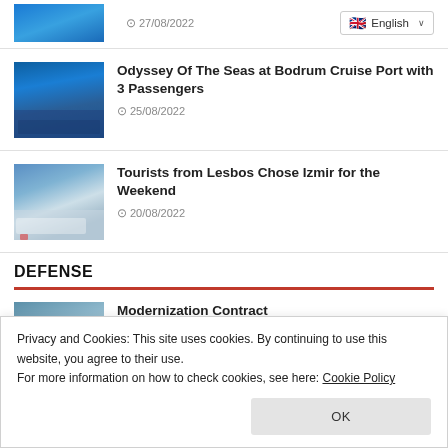[Figure (photo): Partial thumbnail of a cruise/boat scene at top left]
27/08/2022
[Figure (screenshot): English language selector dropdown button with UK flag]
[Figure (photo): Odyssey of the Seas cruise ship docked at Bodrum port]
Odyssey Of The Seas at Bodrum Cruise Port with 3 Passengers
25/08/2022
[Figure (photo): Ferry with tourists and vehicles at a port, cloudy sky]
Tourists from Lesbos Chose Izmir for the Weekend
20/08/2022
DEFENSE
Privacy and Cookies: This site uses cookies. By continuing to use this website, you agree to their use.
For more information on how to check cookies, see here: Cookie Policy
[Figure (photo): Partial thumbnail of a defense/military subject]
Modernization Contract